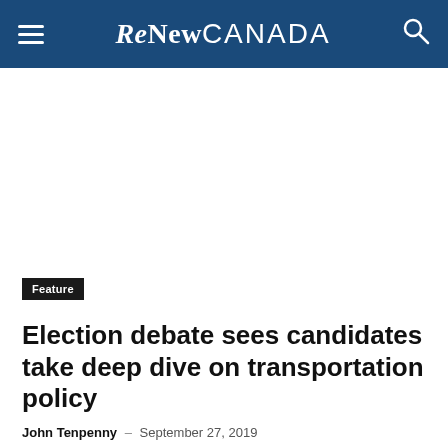ReNew CANADA
[Figure (other): Advertisement placeholder — large white rectangular area below the header navigation bar]
Feature
Election debate sees candidates take deep dive on transportation policy
John Tenpenny – September 27, 2019
About a month ahead of the Oct. 21 federal election, Transport Futures hosted a special transportation debate at the University of Toronto. Moderated by…